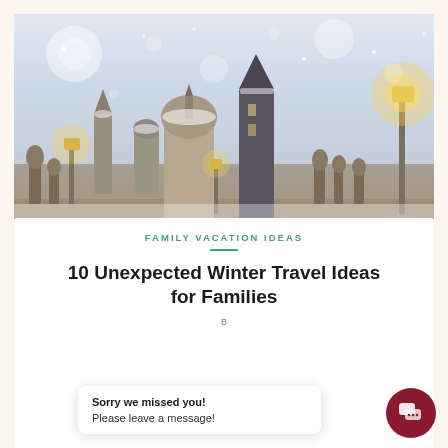[Figure (photo): Winter cityscape of Prague with snow-covered buildings, domed church, tower, statues on a bridge, and warm glowing street lamps against a misty lavender-grey sky with bokeh snowflakes]
FAMILY VACATION IDEAS
10 Unexpected Winter Travel Ideas for Families
B...
Sorry we missed you!
Please leave a message!